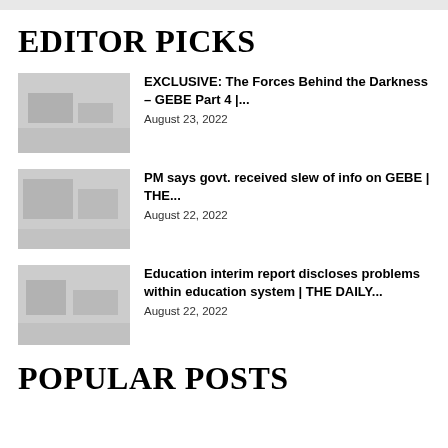EDITOR PICKS
[Figure (photo): Thumbnail image placeholder for article 1]
EXCLUSIVE: The Forces Behind the Darkness – GEBE Part 4 |...
August 23, 2022
[Figure (photo): Thumbnail image placeholder for article 2]
PM says govt. received slew of info on GEBE | THE...
August 22, 2022
[Figure (photo): Thumbnail image placeholder for article 3]
Education interim report discloses problems within education system | THE DAILY...
August 22, 2022
POPULAR POSTS